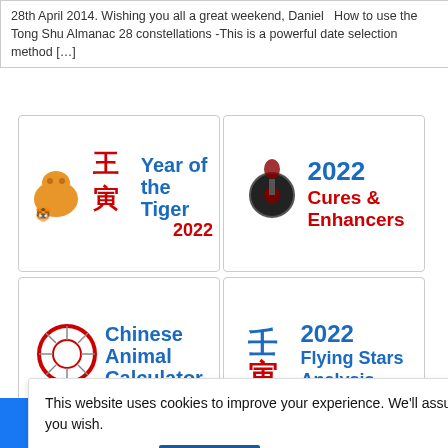28th April 2014. Wishing you all a great weekend, Daniel  How to use the Tong Shu Almanac 28 constellations -This is a powerful date selection method [...]
[Figure (illustration): Grid of 6 promotional tiles: Year of the Tiger 2022, 2022 Cures & Enhancers, Chinese Animal Calculator, 2022 Flying Stars Analysis, 2022 Animal (partial), Money Magnet (partial)]
This website uses cookies to improve your experience. We'll assume you're ok with this, but you can opt-out if you wish.
Cookie settings  ACCEPT
389  1